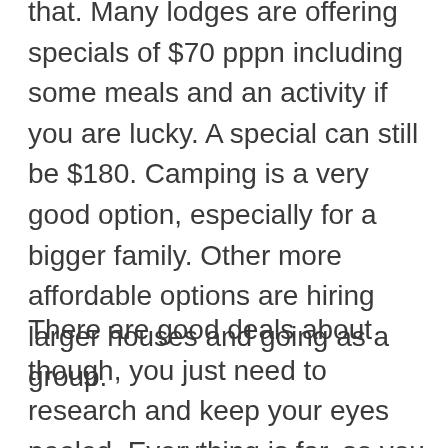that. Many lodges are offering specials of $70 pppn including some meals and an activity if you are lucky. A special can still be $180. Camping is a very good option, especially for a bigger family. Other more affordable options are hiring larger houses and going as a group.
There are good deals about though, you just need to research and keep your eyes peeled. Everything is far, so you need to be prepared to travel, or the alternative is you just don't get to see places. That said, there are random places about that you can go and do things affordably